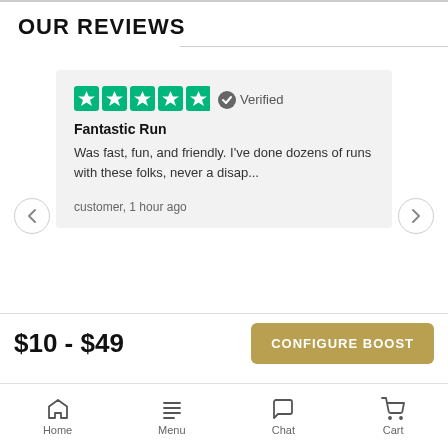OUR REVIEWS
[Figure (screenshot): Trustpilot review card showing 5 green stars, Verified badge, review title 'Fantastic Run', review text 'Was fast, fun, and friendly. I've done dozens of runs with these folks, never a disap...', author 'customer, 1 hour ago']
Rated 4.9 / 5 based on 20,972 reviews. Showing our 3, 4 & 5 star reviews.
[Figure (logo): Trustpilot logo with green star]
$10 - $49
CONFIGURE BOOST
Home  Menu  Chat  Cart